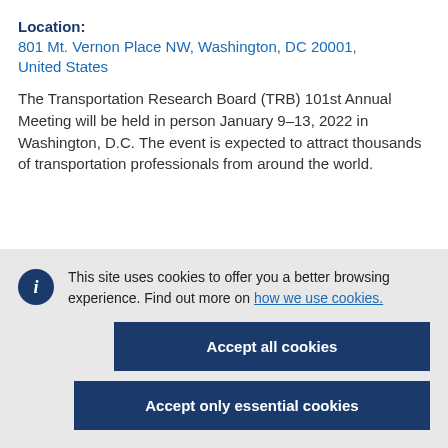Location:
801 Mt. Vernon Place NW, Washington, DC 20001, United States
The Transportation Research Board (TRB) 101st Annual Meeting will be held in person January 9–13, 2022 in Washington, D.C. The event is expected to attract thousands of transportation professionals from around the world.
This site uses cookies to offer you a better browsing experience. Find out more on how we use cookies.
Accept all cookies
Accept only essential cookies